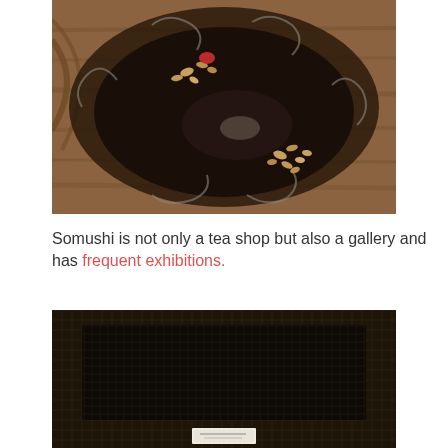[Figure (photo): Top-down view of a dark ceramic bowl with scalloped edges containing a small amount of liquid and scattered nuts/seeds, resting on a wooden surface]
Somushi is not only a tea shop but also a gallery and has frequent exhibitions.
[Figure (photo): Dark mesh/grid object (possibly a screen or tray) with a small white label visible at the bottom center, photographed in low light]